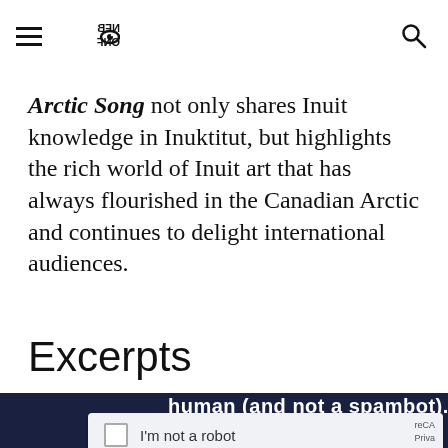NFB logo and navigation header with hamburger menu and search icon
Arctic Song not only shares Inuit knowledge in Inuktitut, but highlights the rich world of Inuit art that has always flourished in the Canadian Arctic and continues to delight international audiences.
Excerpts
[Figure (screenshot): Screenshot of a video player blocked by a reCAPTCHA overlay on a dark navy background, showing text 'human (and not a spambot).' and an 'I'm not a robot' checkbox with reCAPTCHA branding, and partial Vimeo logo at the bottom]